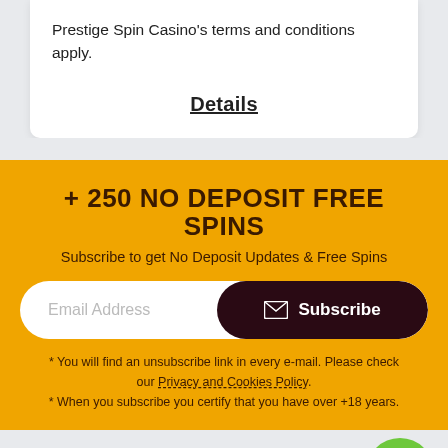Prestige Spin Casino's terms and conditions apply.
Details
+ 250 NO DEPOSIT FREE SPINS
Subscribe to get No Deposit Updates & Free Spins
Email Address
Subscribe
* You will find an unsubscribe link in every e-mail. Please check our Privacy and Cookies Policy.
* When you subscribe you certify that you have over +18 years.
Deposit Bonuses
500 First Deposit Bonuses